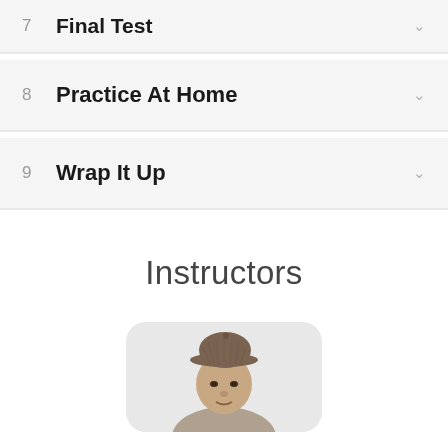Final Test
8  Practice At Home
9  Wrap It Up
Instructors
[Figure (photo): Photo of an instructor wearing a brown checkered newsboy cap, shown from shoulders up, against a light gray rounded rectangle background.]